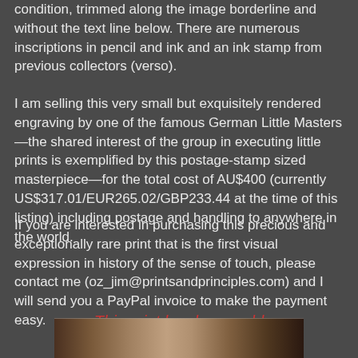condition, trimmed along the image borderline and without the text line below. There are numerous inscriptions in pencil and ink and an ink stamp from previous collectors (verso).
I am selling this very small but exquisitely rendered engraving by one of the famous German Little Masters —the shared interest of the group in executing little prints is exemplified by this postage-stamp sized masterpiece—for the total cost of AU$400 (currently US$317.01/EUR265.02/GBP233.44 at the time of this listing) including postage and handling to anywhere in the world.
If you are interested in purchasing this precious and exceptionally rare print that is the first visual expression in history of the sense of touch, please contact me (oz_jim@printsandprinciples.com) and I will send you a PayPal invoice to make the payment easy.
This print has been sold
[Figure (photo): Bottom portion of a photograph of the print, showing a dark brownish image strip at the bottom of the page]